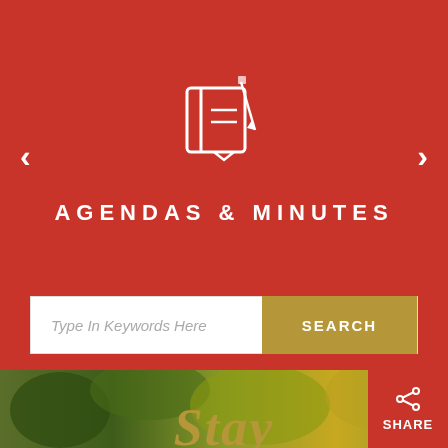[Figure (screenshot): Red background section with book/notepad icon, navigation arrows left and right, agendas and minutes title, search bar with keyword input and search button, forest photo background below, Stay text overlay, Share button]
AGENDAS & MINUTES
Type In Keywords Here
SEARCH
Stay
SHARE